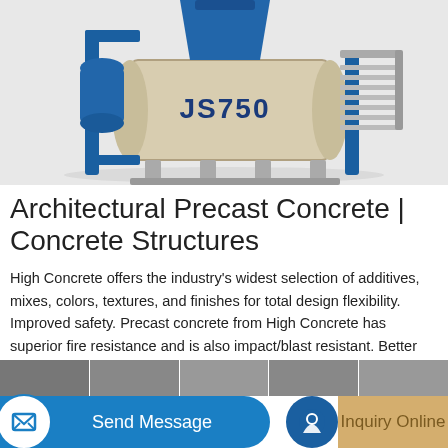[Figure (photo): Industrial concrete mixer machine labeled JS750, beige/cream colored drum with blue steel frame and scaffolding, on a light gray background.]
Architectural Precast Concrete | Concrete Structures
High Concrete offers the industry's widest selection of additives, mixes, colors, textures, and finishes for total design flexibility. Improved safety. Precast concrete from High Concrete has superior fire resistance and is also impact/blast resistant. Better performance. When it comes to performance, High Concrete provides the precast
Learn More
Send Message
Inquiry Online